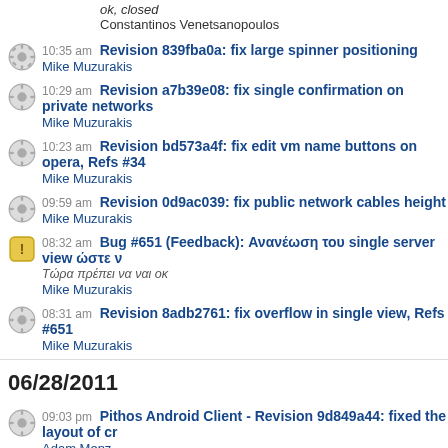ok, closed
Constantinos Venetsanopoulos
10:35 am Revision 839fba0a: fix large spinner positioning
Mike Muzurakis
10:29 am Revision a7b39e08: fix single confirmation on private networks
Mike Muzurakis
10:23 am Revision bd573a4f: fix edit vm name buttons on opera, Refs #34
Mike Muzurakis
09:59 am Revision 0d9ac039: fix public network cables height
Mike Muzurakis
08:32 am Bug #651 (Feedback): Ανανέωση του single server view ώστε ν
Τώρα πρέπει να ναι οκ
Mike Muzurakis
08:31 am Revision 8adb2761: fix overflow in single view, Refs #651
Mike Muzurakis
06/28/2011
09:03 pm Pithos Android Client - Revision 9d849a44: fixed the layout of cr
Adam Menz
07:49 pm Pithos Android Client - Revision 32731215: Merge branch 'objec
and some xlarge layouts
and detailed error handling in place
Conflicts:
AndroidManifest.xml